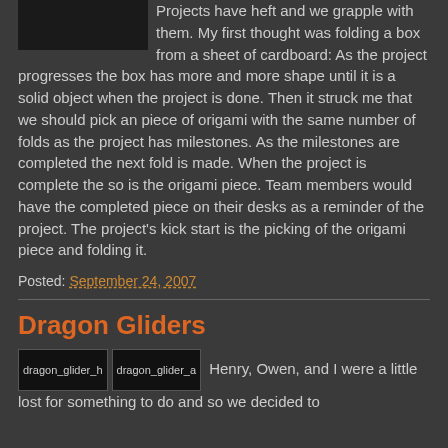Projects have heft and we grapple with them. My first thought was folding a box from a sheet of cardboard: As the project progresses the box has more and more shape until it is a solid object when the project is done. Then it struck me that we should pick an piece of origami with the same number of folds as the project has milestones. As the milestones are completed the next fold is made. When the project is complete the so is the origami piece. Team members would have the completed piece on their desks as a reminder of the project. The project's kick start is the picking of the origami piece and folding it.
Posted: September 24, 2007
Dragon Gliders
[Figure (photo): Two image placeholders labeled dragon_glider_h and dragon_glider_a]
Henry, Owen, and I were a little lost for something to do and so we decided to